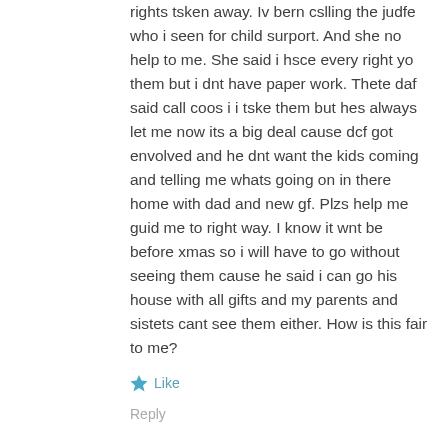rights tsken away. Iv bern cslling the judfe who i seen for child surport. And she no help to me. She said i hsce every right yo them but i dnt have paper work. Thete daf said call coos i i tske them but hes always let me now its a big deal cause dcf got envolved and he dnt want the kids coming and telling me whats going on in there home with dad and new gf. Plzs help me guid me to right way. I know it wnt be before xmas so i will have to go without seeing them cause he said i can go his house with all gifts and my parents and sistets cant see them either. How is this fair to me?
Like
Reply